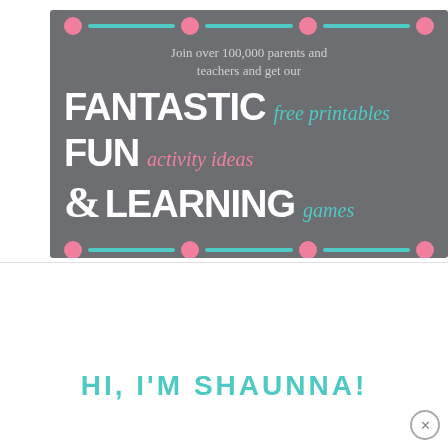[Figure (infographic): Promotional banner with dark gray background, pink dots and teal dashes border top and bottom, text reading 'Join over 100,000 parents and teachers and get our FANTASTIC free printables FUN activity ideas & LEARNING games']
HI, I'M SHAUNNA!